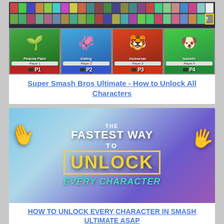[Figure (screenshot): Super Smash Bros Ultimate character selection screen showing Piranha Plant (Player 1), Inkling (Player 2), Incineroar (Player 3), and Isabelle (Player 4) with a full roster grid at the top]
Super Smash Bros Ultimate - How to Unlock All Characters
[Figure (screenshot): Thumbnail image with text: THE FASTEST WAY TO UNLOCK EVERY CHARACTER, with cartoon gloved hands on blue/purple background]
HOW TO UNLOCK EVERY CHARACTER IN SMASH ULTIMATE ASAP